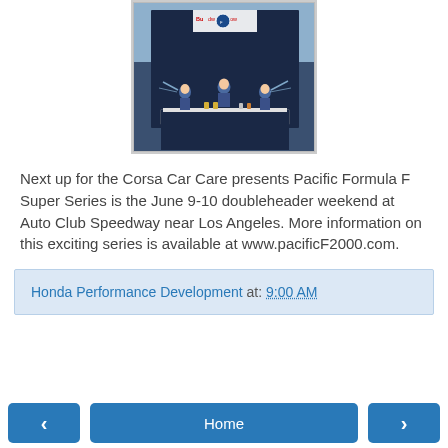[Figure (photo): Three race drivers in blue suits on a podium celebrating, spraying liquid, with a dark backdrop and racing banners behind them. The podium is draped with a dark blue cloth.]
Next up for the Corsa Car Care presents Pacific Formula F Super Series is the June 9-10 doubleheader weekend at Auto Club Speedway near Los Angeles. More information on this exciting series is available at www.pacificF2000.com.
Honda Performance Development at: 9:00 AM
Home